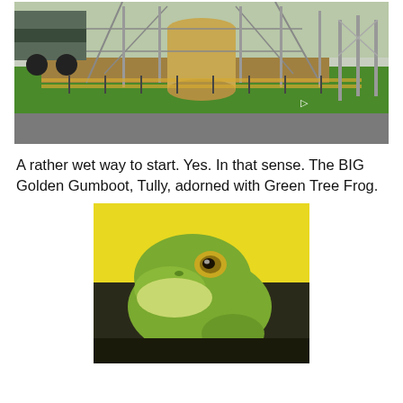[Figure (photo): Outdoor construction scene with scaffolding, metal fencing, green grass lawn, a road in the foreground, and a large cylindrical structure under scaffolding in the background with a truck visible.]
A rather wet way to start. Yes. In that sense. The BIG Golden Gumboot, Tully, adorned with Green Tree Frog.
[Figure (photo): Close-up photograph of a Green Tree Frog sitting on a dark surface against a bright yellow background. The frog is green with a pale underside and has a large golden eye.]